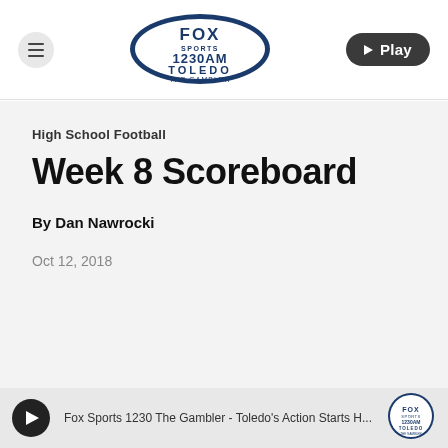[Figure (logo): Fox Sports 1230AM Toledo The Gambler radio station logo]
High School Football
Week 8 Scoreboard
By Dan Nawrocki
Oct 12, 2018
Fox Sports 1230 The Gambler - Toledo's Action Starts H...